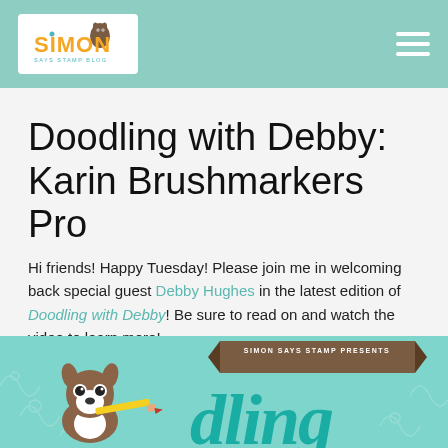Simon Says Stamp Blog - Navigation header
Doodling with Debby: Karin Brushmarkers Pro
Hi friends! Happy Tuesday! Please join me in welcoming back special guest Debby Hughes in the latest edition of Doodling with Debby! Be sure to read on and watch the video to learn more!
[Figure (illustration): Bottom banner graphic showing a cartoon Boston Terrier dog holding a pencil, a brown ribbon reading 'SIMON SAYS STAMP PRESENTS', and large teal cursive text reading 'dling' on a teal background with swirl patterns]